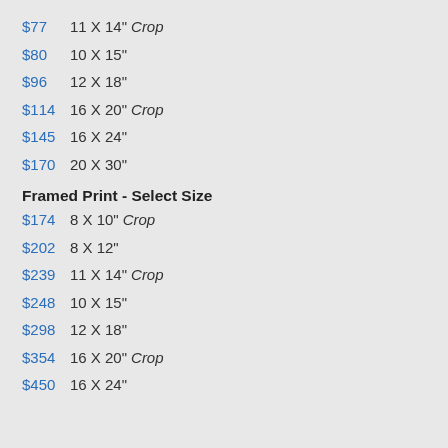$77  11 X 14" Crop
$80  10 X 15"
$96  12 X 18"
$114 16 X 20" Crop
$145 16 X 24"
$170 20 X 30"
Framed Print - Select Size
$174 8 X 10" Crop
$202 8 X 12"
$239 11 X 14" Crop
$248 10 X 15"
$298 12 X 18"
$354 16 X 20" Crop
$450 16 X 24"